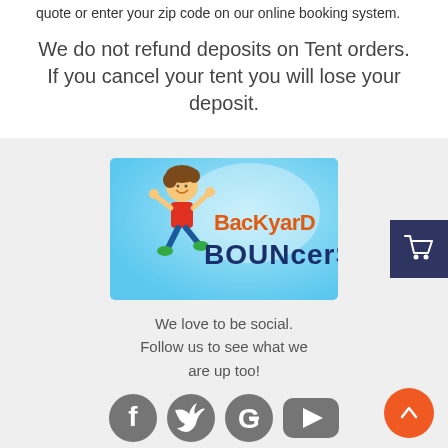quote or enter your zip code on our online booking system.
We do not refund deposits on Tent orders. If you cancel your tent you will lose your deposit.
[Figure (logo): Backyard Bouncers logo with cartoon child jumping, orange and navy text on light blue background]
We love to be social. Follow us to see what we are up too!
[Figure (infographic): Social media icons: Facebook, Twitter, Google+, YouTube]